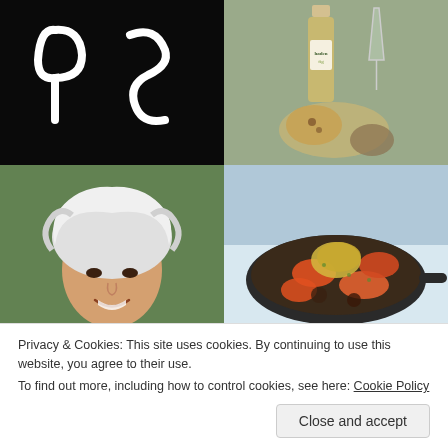[Figure (photo): White graffiti-style letters 'PS' on a black background]
[Figure (photo): Haden Fig wild pinot noir wine bottle with bread and charcuterie on a table outdoors]
[Figure (photo): Portrait of a smiling woman with curly white/gray hair]
[Figure (photo): Roasted vegetables including carrots in a dark skillet]
Privacy & Cookies: This site uses cookies. By continuing to use this website, you agree to their use.
To find out more, including how to control cookies, see here: Cookie Policy
[Figure (photo): Partial photo bottom left, person outdoors]
[Figure (photo): Partial photo bottom right, text reading 'JUL California 2010']